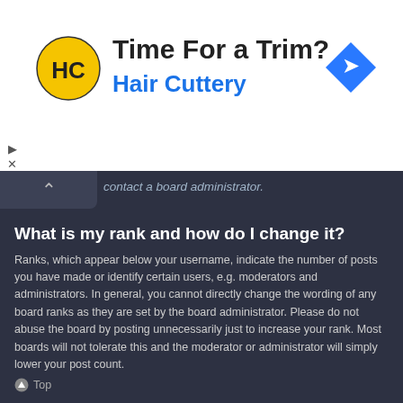[Figure (other): Advertisement banner for Hair Cuttery salon. Shows HC logo (yellow circle with HC letters), text 'Time For a Trim?' in dark, 'Hair Cuttery' in blue, and a blue diamond navigation arrow icon on the right.]
contact a board administrator.
What is my rank and how do I change it?
Ranks, which appear below your username, indicate the number of posts you have made or identify certain users, e.g. moderators and administrators. In general, you cannot directly change the wording of any board ranks as they are set by the board administrator. Please do not abuse the board by posting unnecessarily just to increase your rank. Most boards will not tolerate this and the moderator or administrator will simply lower your post count.
⬆ Top
When I click the email link for a user it asks me to login?
Only registered users can send email to other users via the built-in email form, and only if the administrator has enabled this feature. This is to